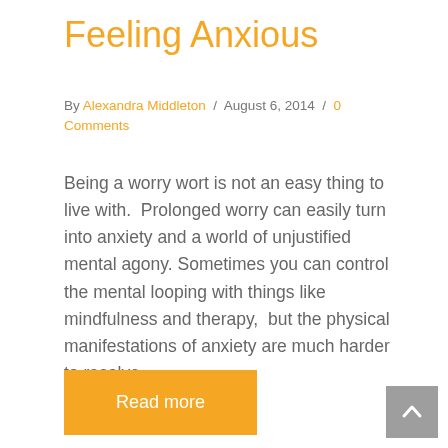Feeling Anxious
By Alexandra Middleton / August 6, 2014 / 0 Comments
Being a worry wort is not an easy thing to live with.  Prolonged worry can easily turn into anxiety and a world of unjustified mental agony. Sometimes you can control the mental looping with things like mindfulness and therapy,  but the physical manifestations of anxiety are much harder to resolve. ...
Read more